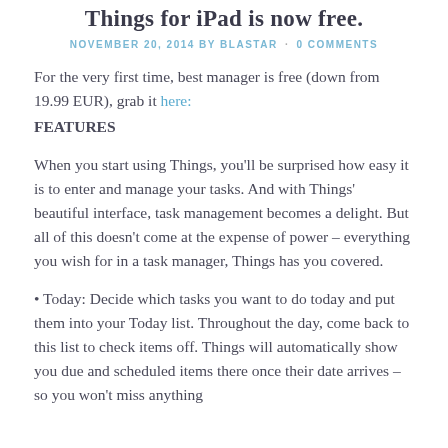Things for iPad is now free.
NOVEMBER 20, 2014 BY BLASTAR · 0 COMMENTS
For the very first time, best manager is free (down from 19.99 EUR), grab it here:
FEATURES
When you start using Things, you'll be surprised how easy it is to enter and manage your tasks. And with Things' beautiful interface, task management becomes a delight. But all of this doesn't come at the expense of power – everything you wish for in a task manager, Things has you covered.
Today: Decide which tasks you want to do today and put them into your Today list. Throughout the day, come back to this list to check items off. Things will automatically show you due and scheduled items there once their date arrives – so you won't miss anything